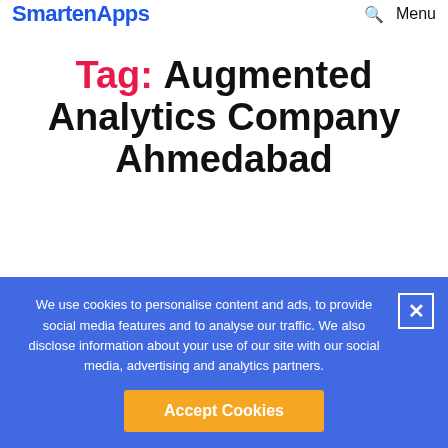SmartenApps  Menu
Tag: Augmented Analytics Company Ahmedabad
We use cookies to personalise content and ads, to provide social media features and to analyse our traffic. We also disclose information about your use of our site with our social media, advertising and analytics partners.
Accept Cookies